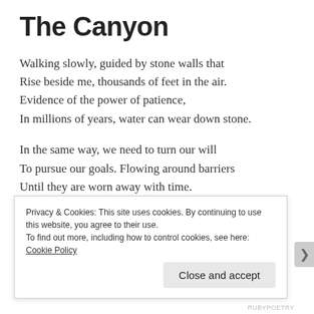The Canyon
Walking slowly, guided by stone walls that
Rise beside me, thousands of feet in the air.
Evidence of the power of patience,
In millions of years, water can wear down stone.
In the same way, we need to turn our will
To pursue our goals. Flowing around barriers
Until they are worn away with time.
We have time. Be patient and do not waver.
But before you fix your path, choose wisely
Privacy & Cookies: This site uses cookies. By continuing to use this website, you agree to their use.
To find out more, including how to control cookies, see here: Cookie Policy
RUBYPOETRY